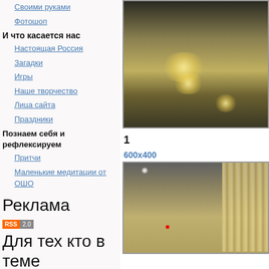Своими руками
Фотошоп
И что касается нас
Настоящая Россия
Загадки
Игры
Наше творчество
Лица сайта
Праздники
Познаем себя и рефлексируем
Притчи
Маленькие медитации от ОШО
Реклама
[Figure (other): RSS 2.0 badge]
Для тех кто в теме
[Figure (photo): Photo of illuminated cave interior with warm glowing lights on icy/snowy floor]
1
600x400
[Figure (photo): Photo of cave with icicles hanging, warm and cool lighting, red dot visible]